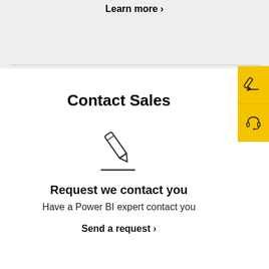Learn more >
Contact Sales
[Figure (illustration): Pencil icon with underline, representing writing/editing]
Request we contact you
Have a Power BI expert contact you
Send a request >
[Figure (illustration): Yellow sidebar with pencil icon and headset icon buttons]